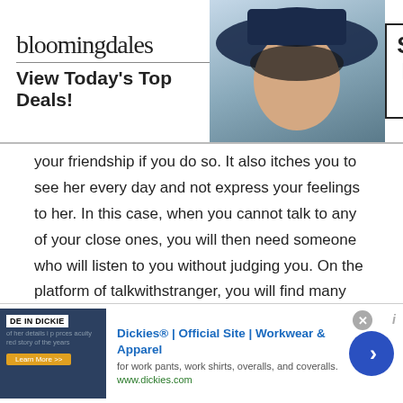[Figure (screenshot): Bloomingdale's advertisement banner with logo, model wearing hat, and 'SHOP NOW >' button]
your friendship if you do so. It also itches you to see her every day and not express your feelings to her. In this case, when you cannot talk to any of your close ones, you will then need someone who will listen to you without judging you. On the platform of talkwithstranger, you will find many people with whom you can chat. You can chat with random people of Egypt.
For example, On TWS you can arrange virtual parties, have birthday celebrations, New Year's Eve
[Figure (screenshot): Dickies Official Site advertisement banner with workwear image and navigation arrow]